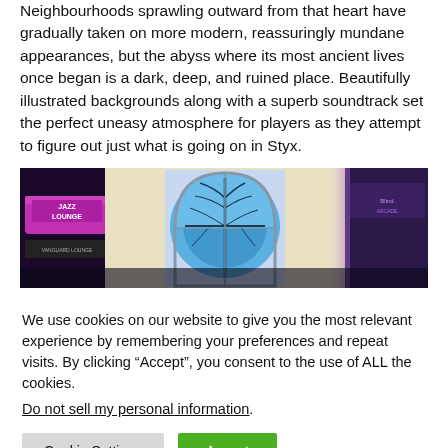Neighbourhoods sprawling outward from that heart have gradually taken on more modern, reassuringly mundane appearances, but the abyss where its most ancient lives once began is a dark, deep, and ruined place. Beautifully illustrated backgrounds along with a superb soundtrack set the perfect uneasy atmosphere for players as they attempt to figure out just what is going on in Styx.
[Figure (illustration): A wide illustrated game background scene showing a dark urban alleyway with a Jazz Lounge sign on the left (purple/magenta awning), a glowing blue stained-glass window with tree-branch patterns in the center, and neon-lit storefronts on the right in purple tones.]
We use cookies on our website to give you the most relevant experience by remembering your preferences and repeat visits. By clicking “Accept”, you consent to the use of ALL the cookies.
Do not sell my personal information.
Cookie Settings | Accept